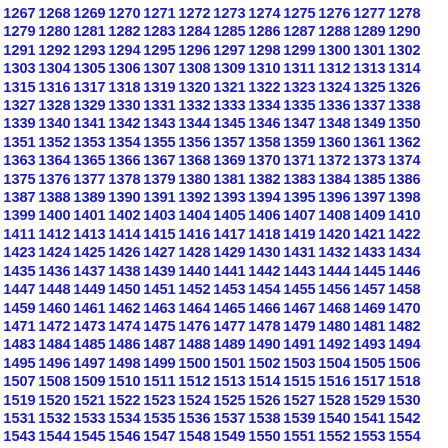1267 1268 1269 1270 1271 1272 1273 1274 1275 1276 1277 1278 1279 1280 1281 1282 1283 1284 1285 1286 1287 1288 1289 1290 1291 1292 1293 1294 1295 1296 1297 1298 1299 1300 1301 1302 1303 1304 1305 1306 1307 1308 1309 1310 1311 1312 1313 1314 1315 1316 1317 1318 1319 1320 1321 1322 1323 1324 1325 1326 1327 1328 1329 1330 1331 1332 1333 1334 1335 1336 1337 1338 1339 1340 1341 1342 1343 1344 1345 1346 1347 1348 1349 1350 1351 1352 1353 1354 1355 1356 1357 1358 1359 1360 1361 1362 1363 1364 1365 1366 1367 1368 1369 1370 1371 1372 1373 1374 1375 1376 1377 1378 1379 1380 1381 1382 1383 1384 1385 1386 1387 1388 1389 1390 1391 1392 1393 1394 1395 1396 1397 1398 1399 1400 1401 1402 1403 1404 1405 1406 1407 1408 1409 1410 1411 1412 1413 1414 1415 1416 1417 1418 1419 1420 1421 1422 1423 1424 1425 1426 1427 1428 1429 1430 1431 1432 1433 1434 1435 1436 1437 1438 1439 1440 1441 1442 1443 1444 1445 1446 1447 1448 1449 1450 1451 1452 1453 1454 1455 1456 1457 1458 1459 1460 1461 1462 1463 1464 1465 1466 1467 1468 1469 1470 1471 1472 1473 1474 1475 1476 1477 1478 1479 1480 1481 1482 1483 1484 1485 1486 1487 1488 1489 1490 1491 1492 1493 1494 1495 1496 1497 1498 1499 1500 1501 1502 1503 1504 1505 1506 1507 1508 1509 1510 1511 1512 1513 1514 1515 1516 1517 1518 1519 1520 1521 1522 1523 1524 1525 1526 1527 1528 1529 1530 1531 1532 1533 1534 1535 1536 1537 1538 1539 1540 1541 1542 1543 1544 1545 1546 1547 1548 1549 1550 1551 1552 1553 1554 1555 1556 1557 1558 1559 1560 1561 1562 1563 1564 1565 1566